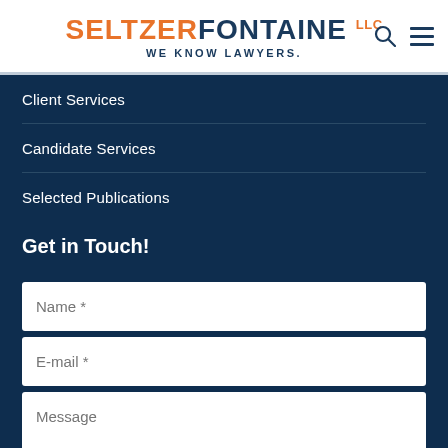SeltzerFontaine LLC — We know lawyers.
Client Services
Candidate Services
Selected Publications
Get in Touch!
Name *
E-mail *
Message